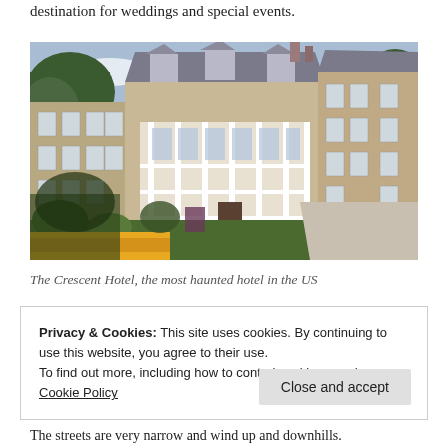destination for weddings and special events.
[Figure (photo): Exterior photograph of The Crescent Hotel, a large stone multi-story historic hotel building with white balconies, dormer windows, and surrounded by trees and colorful flower gardens with a driveway visible.]
The Crescent Hotel, the most haunted hotel in the US
Privacy & Cookies: This site uses cookies. By continuing to use this website, you agree to their use.
To find out more, including how to control cookies, see here: Cookie Policy
The streets are very narrow and wind up and downhills.